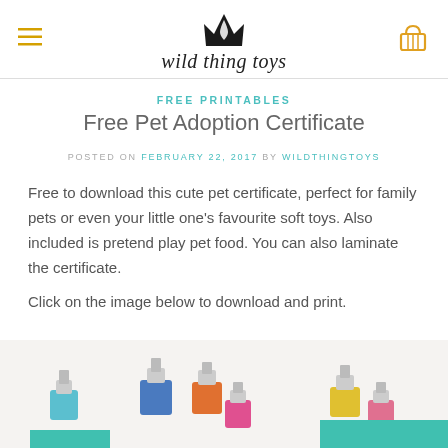wild thing toys
FREE PRINTABLES
Free Pet Adoption Certificate
POSTED ON FEBRUARY 22, 2017 BY WILDTHINGTOYS
Free to download this cute pet certificate, perfect for family pets or even your little one's favourite soft toys. Also included is pretend play pet food. You can also laminate the certificate.
Click on the image below to download and print.
[Figure (photo): Colourful binder clips scattered on a white background]